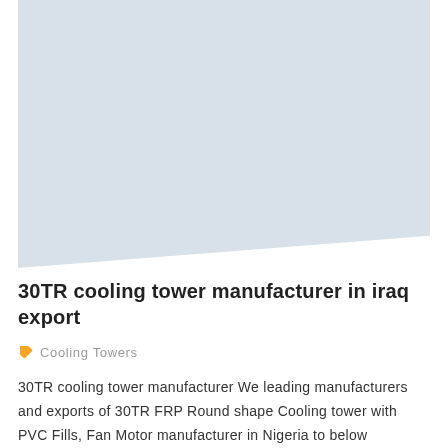[Figure (photo): Light blue/gray placeholder image area with a diagonal bottom edge, representing a cooling tower product photo]
30TR cooling tower manufacturer in iraq export
Cooling Towers
30TR cooling tower manufacturer We leading manufacturers and exports of 30TR FRP Round shape Cooling tower with PVC Fills, Fan Motor manufacturer in Nigeria to below countries Cooling